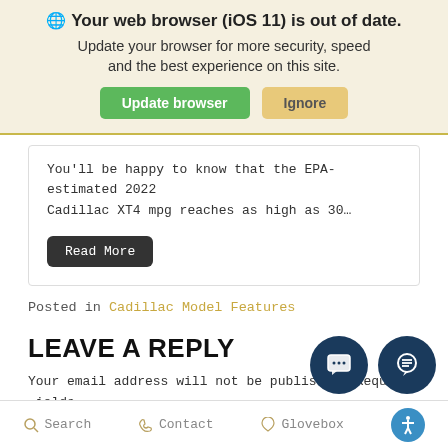[Figure (screenshot): Browser update notification banner: globe icon, bold text 'Your web browser (iOS 11) is out of date.', subtitle 'Update your browser for more security, speed and the best experience on this site.', green 'Update browser' button and tan 'Ignore' button]
You'll be happy to know that the EPA-estimated 2022 Cadillac XT4 mpg reaches as high as 30…
Read More
Posted in Cadillac Model Features
LEAVE A REPLY
Your email address will not be published. Required fields marked *
[Figure (infographic): Two dark navy circular floating chat/message buttons in bottom-right corner]
Search   Contact   Glovebox   [accessibility icon]